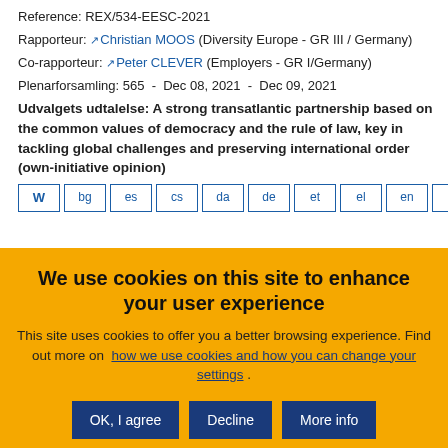Reference: REX/534-EESC-2021
Rapporteur: Christian MOOS (Diversity Europe - GR III / Germany)
Co-rapporteur: Peter CLEVER (Employers - GR I/Germany)
Plenarforsamling: 565 - Dec 08, 2021 - Dec 09, 2021
Udvalgets udtalelse: A strong transatlantic partnership based on the common values of democracy and the rule of law, key in tackling global challenges and preserving international order (own-initiative opinion)
W bg es cs da de et el en fr ga
We use cookies on this site to enhance your user experience
This site uses cookies to offer you a better browsing experience. Find out more on how we use cookies and how you can change your settings .
OK, I agree | Decline | More info